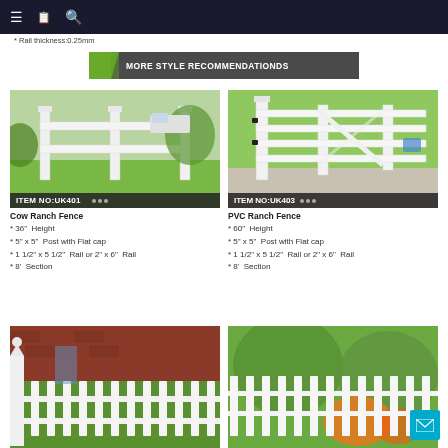navigation bar with menu, bookmark, search icons
* Rail thickness:0.25mm
MORE STYLE RECOMMENDATIONDS
[Figure (photo): White two-rail cow ranch vinyl fence with post and flat cap, grass background. Item no: UK401]
Cow Ranch Fence
* 36" Height
* 5" x 5" Post with Flat cap
* 1 1/2" x 5 1/2" Rail or 2" x 6" Rail
* 8' Section
[Figure (photo): White four-rail PVC ranch fence with gate, green grass background. Item no: UK403]
PVC Ranch Fence
* 60" Height
* 5" x 5" Post with Flat cap
* 1 1/2" x 5 1/2" Rail or 2" x 6" Rail
* 8' Section
[Figure (photo): White picket fence with decorative post cap and red brick background, partially visible.]
[Figure (photo): White picket fence with orange flowers in background, partially visible.]